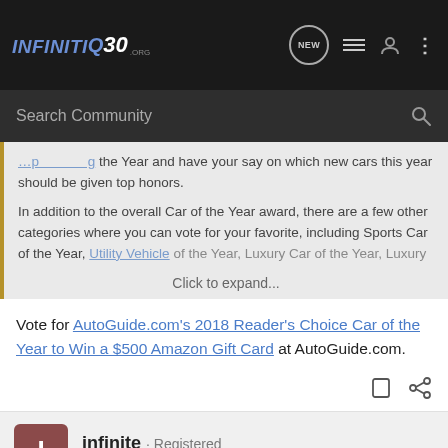INFINITI Q30 .ORG — Navigation bar with search
...the Year and have your say on which new cars this year should be given top honors.

In addition to the overall Car of the Year award, there are a few other categories where you can vote for your favorite, including Sports Car of the Year, Utility Vehicle of the Year, Luxury Car of the Year, Luxury
Click to expand...
Vote for AutoGuide.com's 2018 Reader's Choice Car of the Year to Win a $500 Amazon Gift Card at AutoGuide.com.
infinite · Registered
Joined Jul 18, 2013 · 766 Posts